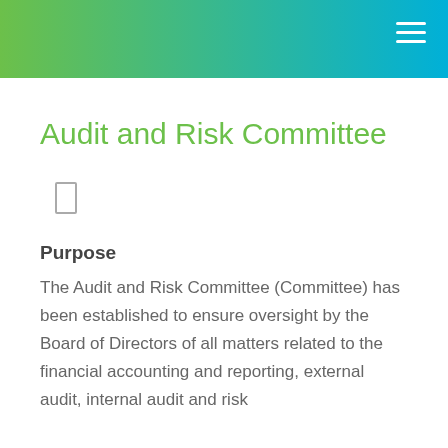Audit and Risk Committee
Purpose
The Audit and Risk Committee (Committee) has been established to ensure oversight by the Board of Directors of all matters related to the financial accounting and reporting, external audit, internal audit and risk